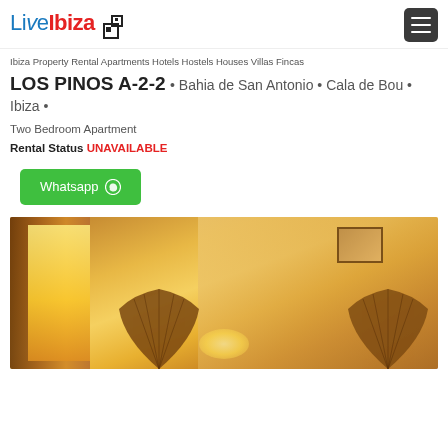LiveIbiza [logo]
Ibiza Property Rental Apartments Hotels Hostels Houses Villas Fincas
LOS PINOS A-2-2 • Bahia de San Antonio • Cala de Bou • Ibiza •
Two Bedroom Apartment
Rental Status UNAVAILABLE
Whatsapp
[Figure (photo): Interior of a bedroom with warm orange/golden light coming through curtains, a framed picture on the wall, and decorative wicker fans]